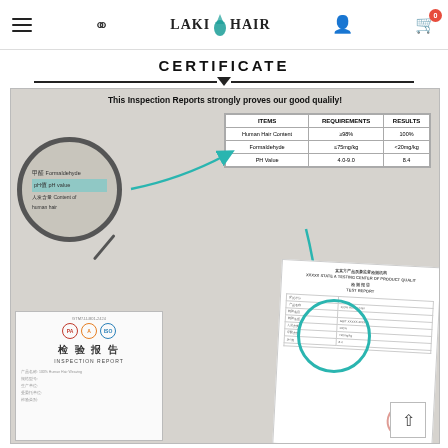LAKI HAIR (website header with menu, search, logo, user, cart icons)
CERTIFICATE
[Figure (infographic): Inspection report certificate image showing a magnified view of a Chinese inspection report with a table of test results: Human Hair Content ≥98% / 100%, Formaldehyde ≤75mg/kg / <20mg/kg, PH Value 4.0-9.0 / 8.4. Includes Chinese inspection report document and test result document with teal arrows pointing from magnifier to table and down to detail.]
This Inspection Reports strongly proves our good qualily!
| ITEMS | REQUIREMENTS | RESULTS |
| --- | --- | --- |
| Human Hair Content | ≥98% | 100% |
| Formaldehyde | ≤75mg/kg | <20mg/kg |
| PH Value | 4.0-9.0 | 8.4 |